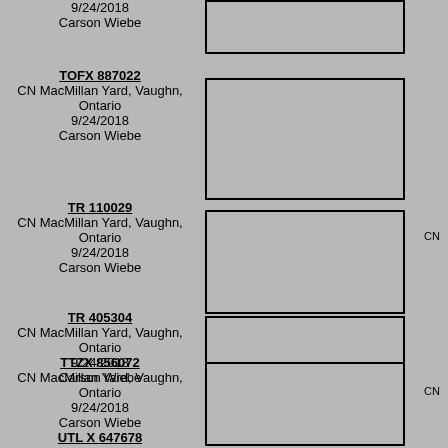9/24/2018
Carson Wiebe
[Figure (photo): Empty gray photo box for top entry]
TOFX 887022
CN MacMillan Yard, Vaughn, Ontario
9/24/2018
Carson Wiebe
[Figure (photo): Empty gray photo box for TOFX 887022]
TR 110029
CN MacMillan Yard, Vaughn, Ontario
9/24/2018
Carson Wiebe
[Figure (photo): Empty gray photo box for TR 110029]
TR 405304
CN MacMillan Yard, Vaughn, Ontario
9/24/2018
Carson Wiebe
[Figure (photo): Empty gray photo box for TR 405304]
TTZX 856072
CN MacMillan Yard, Vaughn, Ontario
9/24/2018
Carson Wiebe
[Figure (photo): Empty gray photo box for TTZX 856072]
UTL X 647678